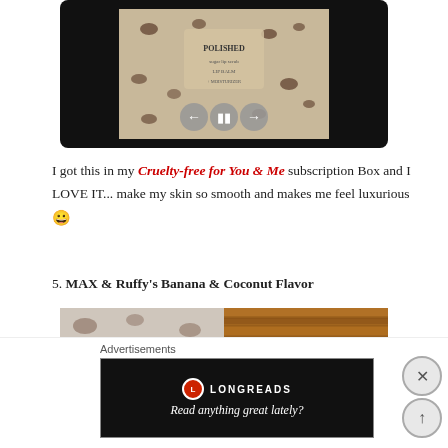[Figure (screenshot): Video player embedded in dark/black frame showing a product image (tan/beige jar with polka dot background), with playback controls: previous, pause, next buttons]
I got this in my Cruelty-free for You & Me subscription Box and I LOVE IT... make my skin so smooth and makes me feel luxurious 😀
5. MAX & Ruffy's Banana & Coconut Flavor
[Figure (photo): Two side-by-side images: left shows a pale spotted/polka-dot fabric texture, right shows a warm wood-grain surface]
Advertisements
[Figure (screenshot): Longreads advertisement banner on black background: circular red logo with L, LONGREADS text, and 'Read anything great lately?' in italic]